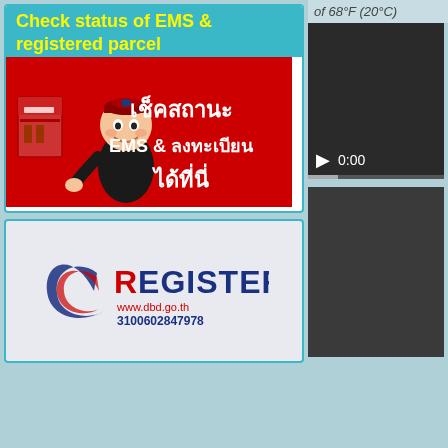Check status of EMS & registered parcel
[Figure (illustration): Thai postal mascot on red background with Thai text: เช็คสถานะ EMS & ลงทะเบียน ได้ที่นี่]
[Figure (logo): Registered logo with www.dbd.go.th and number 3100602847978]
of 68°F (20°C)
[Figure (screenshot): Video player showing 0:00 with play button and progress bar]
[Figure (screenshot): Second dark video player block]